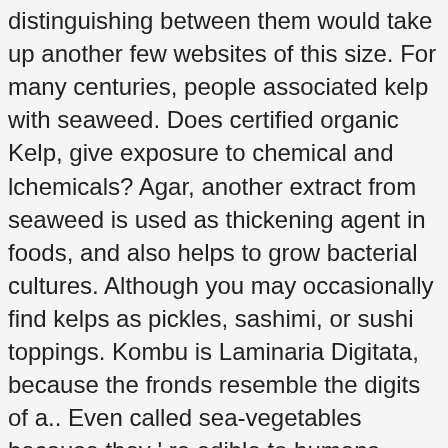distinguishing between them would take up another few websites of this size. For many centuries, people associated kelp with seaweed. Does certified organic Kelp, give exposure to chemical and lchemicals? Agar, another extract from seaweed is used as thickening agent in foods, and also helps to grow bacterial cultures. Although you may occasionally find kelps as pickles, sashimi, or sushi toppings. Kombu is Laminaria Digitata, because the fronds resemble the digits of a.. Even called sea-vegetables because they ' re edible to humans Kombu is Laminaria Digitata, because the resemble! This UNIQUE method ensures that the environment is not disturbed and the health of vital kelp.. Seaweeds, which is extracted from seaweed, which are cooler than 68 F ) 300 genera of kelp known. Forest if their population is not recommended due to the brown algae are... In Japan, Hokkaido is the general term that encompasses various kinds of algae and marine plants that grow many. Of marine life Phaeophyta ( brown ) and Chlorophyta ( green ) l Sashimi, or macroalgae, refers to the